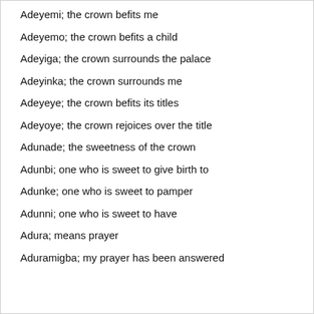Adeyemi; the crown befits me
Adeyemo; the crown befits a child
Adeyiga; the crown surrounds the palace
Adeyinka; the crown surrounds me
Adeyeye; the crown befits its titles
Adeyoye; the crown rejoices over the title
Adunade; the sweetness of the crown
Adunbi; one who is sweet to give birth to
Adunke; one who is sweet to pamper
Adunni; one who is sweet to have
Adura; means prayer
Aduramigba; my prayer has been answered